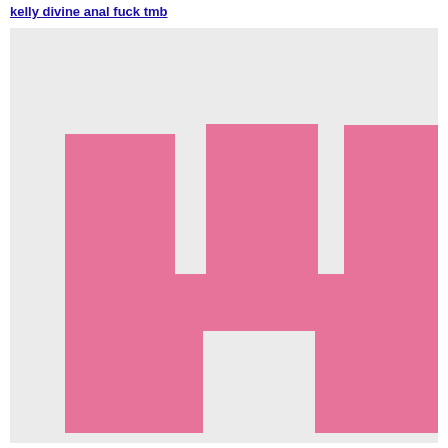kelly divine anal fuck tmb
[Figure (illustration): Pink pixel-art style graphic on a light grey background showing a W or comb-like geometric shape made of pink rectangles arranged in a symmetric pattern.]